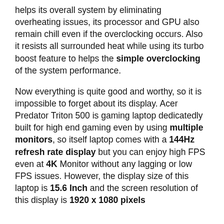helps its overall system by eliminating overheating issues, its processor and GPU also remain chill even if the overclocking occurs. Also it resists all surrounded heat while using its turbo boost feature to helps the simple overclocking of the system performance.
Now everything is quite good and worthy, so it is impossible to forget about its display. Acer Predator Triton 500 is gaming laptop dedicatedly built for high end gaming even by using multiple monitors, so itself laptop comes with a 144Hz refresh rate display but you can enjoy high FPS even at 4K Monitor without any lagging or low FPS issues. However, the display size of this laptop is 15.6 Inch and the screen resolution of this display is 1920 x 1080 pixels